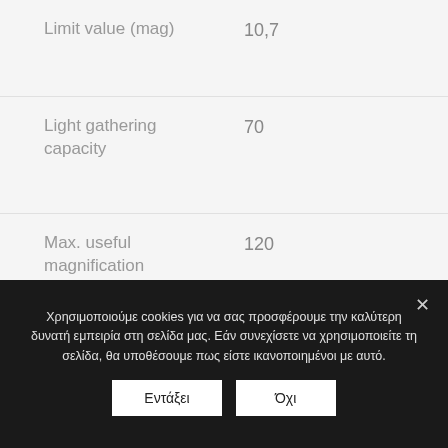| Property | Value |
| --- | --- |
| Limit value (mag) | 10,7 |
| Light gathering capacity | 70 |
| Max. useful magnification | 120 |
| Tube construction | Full tube |
Χρησιμοποιούμε cookies για να σας προσφέρουμε την καλύτερη δυνατή εμπειρία στη σελίδα μας. Εάν συνεχίσετε να χρησιμοποιείτε τη σελίδα, θα υποθέσουμε πως είστε ικανοποιημένοι με αυτό.